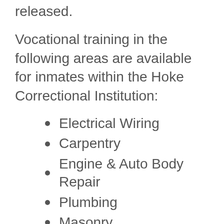released.
Vocational training in the following areas are available for inmates within the Hoke Correctional Institution:
Electrical Wiring
Carpentry
Engine & Auto Body Repair
Plumbing
Masonry
Office Technology
The Hoke Correctional Institution